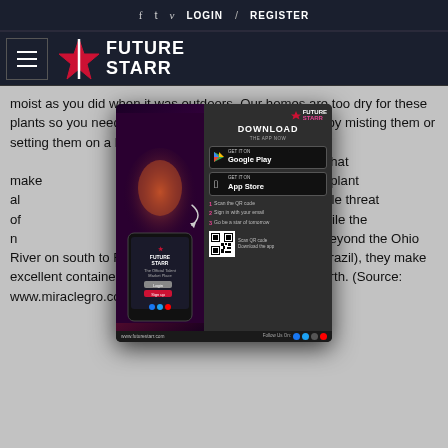f  t  v  LOGIN / REGISTER
[Figure (logo): Future Starr logo with hamburger menu]
moist as you did when it was outdoors. Our homes are too dry for these plants so you need to provide humidity for them either by misting them or setting them on a humidity tray. Passionflower has a striking color pattern that makes better yet, this gorgeous plant also This plant is truly a double threat of is, they're easy to grow. While the native range of passionflowers stretches from beyond the Ohio River on south to Florida (in fact, all the way south to Brazil), they make excellent container plants for indoor gardens further north. (Source: www.miraclegro.com)
[Figure (screenshot): Future Starr app download popup with phone mockup, Google Play and App Store buttons, QR code, steps to download, and www.futurestarr.com URL]